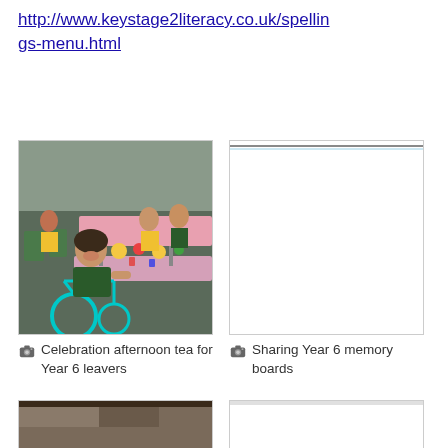http://www.keystage2literacy.co.uk/spellings-menu.html
[Figure (photo): A girl in a wheelchair smiling at an outdoor celebration tea party, with children sitting at long tables with pink tablecloths eating food]
Celebration afternoon tea for Year 6 leavers
[Figure (photo): A mostly blank white image with a faint line near the top, appearing to be a partially loaded or blank photo]
Sharing Year 6 memory boards
[Figure (photo): Partially visible photo at bottom left, cropped by page edge]
[Figure (photo): Partially visible photo at bottom right, cropped by page edge]